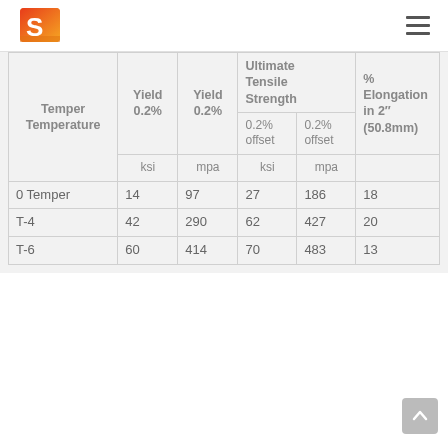S logo and navigation
| Temper Temperature | Yield 0.2% ksi | Yield 0.2% mpa | Ultimate Tensile Strength 0.2% offset ksi | Ultimate Tensile Strength 0.2% offset mpa | % Elongation in 2" (50.8mm) |
| --- | --- | --- | --- | --- | --- |
| 0 Temper | 14 | 97 | 27 | 186 | 18 |
| T-4 | 42 | 290 | 62 | 427 | 20 |
| T-6 | 60 | 414 | 70 | 483 | 13 |